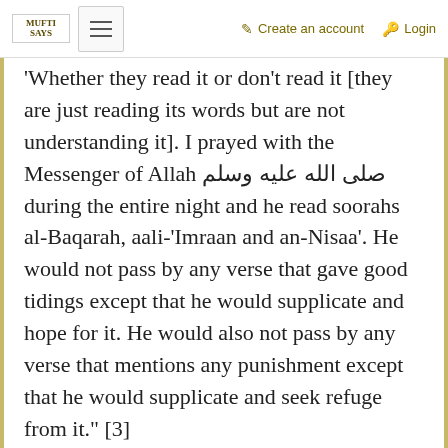MUFTI SAYS | Create an account | Login
'Whether they read it or don't read it [they are just reading its words but are not understanding it]. I prayed with the Messenger of Allah صلى الله عليه وسلم during the entire night and he read soorahs al-Baqarah, aali-'Imraan and an-Nisaa'. He would not pass by any verse that gave good tidings except that he would supplicate and hope for it. He would also not pass by any verse that mentions any punishment except that he would supplicate and seek refuge from it." [3]
Furthermore, when any command came from Allah, he allowed the